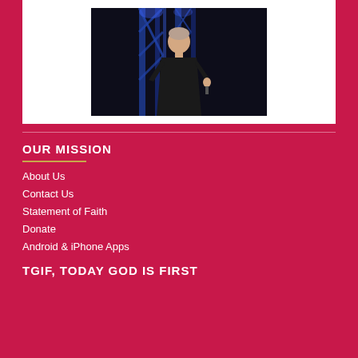[Figure (photo): A man in a black shirt speaking on stage with blue lighting/truss structure in the background]
OUR MISSION
About Us
Contact Us
Statement of Faith
Donate
Android & iPhone Apps
TGIF, TODAY GOD IS FIRST